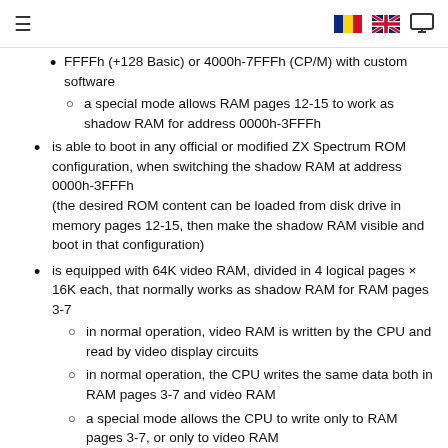≡  [Romanian flag] [UK flag] [monitor icon]
FFFFh (+128 Basic) or 4000h-7FFFh (CP/M) with custom software
a special mode allows RAM pages 12-15 to work as shadow RAM for address 0000h-3FFFh
is able to boot in any official or modified ZX Spectrum ROM configuration, when switching the shadow RAM at address 0000h-3FFFh (the desired ROM content can be loaded from disk drive in memory pages 12-15, then make the shadow RAM visible and boot in that configuration)
is equipped with 64K video RAM, divided in 4 logical pages × 16K each, that normally works as shadow RAM for RAM pages 3-7
in normal operation, video RAM is written by the CPU and read by video display circuits
in normal operation, the CPU writes the same data both in RAM pages 3-7 and video RAM
a special mode allows the CPU to write only to RAM pages 3-7, or only to video RAM